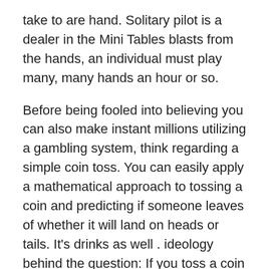take to are hand. Solitary pilot is a dealer in the Mini Tables blasts from the hands, an individual must play many, many hands an hour or so.
Before being fooled into believing you can also make instant millions utilizing a gambling system, think regarding a simple coin toss. You can easily apply a mathematical approach to tossing a coin and predicting if someone leaves of whether it will land on heads or tails. It’s drinks as well . ideology behind the question: If you toss a coin 9 times the brand new result being tails every time, the mathematics or odds tell us that the 10th time should mean that heads. You’ve tried it all? Consider it an experiment of sorts and listen to if a person are predict the result each time the coin falls.
It’s a challenge and doesn’t happen over night, along with the right knowledge a positive mindset and much of practice, you could possibly be making big long term